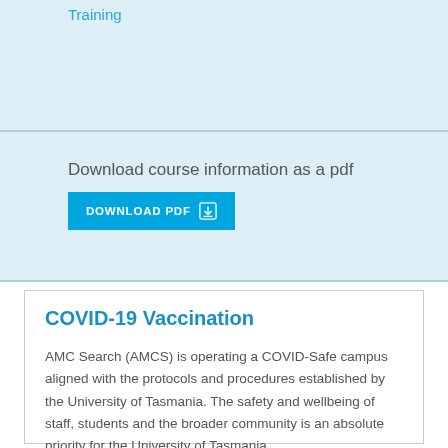Training
Download course information as a pdf
DOWNLOAD PDF
COVID-19 Vaccination
AMC Search (AMCS) is operating a COVID-Safe campus aligned with the protocols and procedures established by the University of Tasmania. The safety and wellbeing of staff, students and the broader community is an absolute priority for the University of Tasmania.